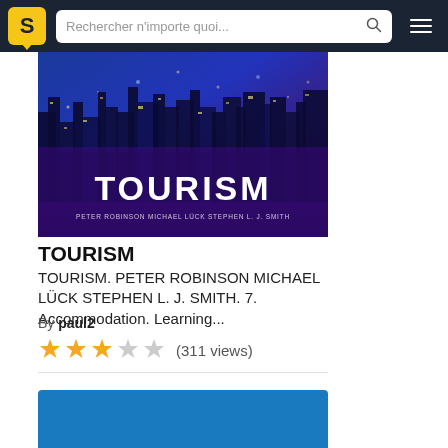Rechercher n'importe quoi...
[Figure (illustration): Book cover for TOURISM by Peter Robinson, Michael Lück, Stephen L. J. Smith. Features a city skyline at night with purple/blue tones and large white TOURISM text.]
TOURISM
TOURISM. PETER ROBINSON MICHAEL LÜCK STEPHEN L. J. SMITH. 7. Accommodation. Learning...
By paul2
★★★☆☆ (311 views)
[Figure (illustration): Partial view of a blue book cover card at the bottom of the page.]